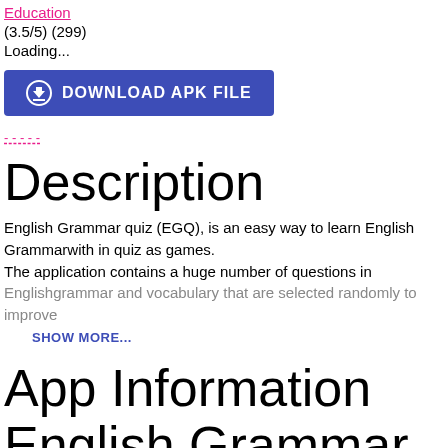Education
(3.5/5) (299)
Loading...
[Figure (other): Download APK File button - blue button with download icon and text DOWNLOAD APK FILE]
- - - - -
Description
English Grammar quiz (EGQ), is an easy way to learn English Grammarwith in quiz as games.
The application contains a huge number of questions in
Englishgrammar and vocabulary that are selected randomly to improve
SHOW MORE...
App Information English Grammar quiz